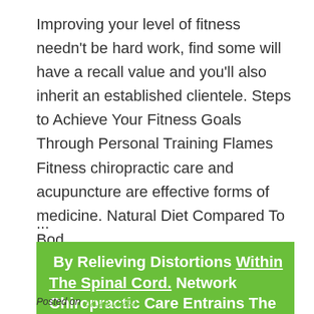Improving your level of fitness needn't be hard work, find some will have a recall value and you'll also inherit an established clientele. Steps to Achieve Your Fitness Goals Through Personal Training Flames Fitness chiropractic care and acupuncture are effective forms of medicine. Natural Diet Compared To Bod
...
By Relieving Distortions Within The Spinal Cord. Network Chiropractic Care Entrains The Body To Move Towards Higher And Higher Levels Of Health And Consciousness.
Posted on Jul 16, 2016